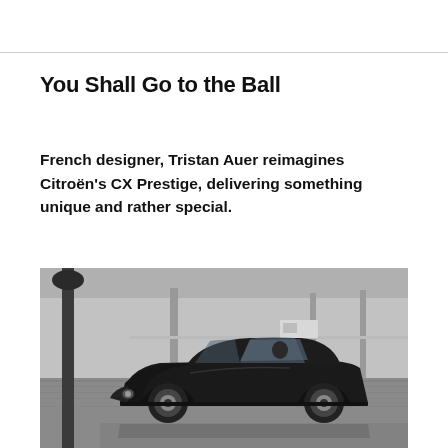You Shall Go to the Ball
French designer, Tristan Auer reimagines Citroën's CX Prestige, delivering something unique and rather special.
[Figure (photo): Black and white photograph of a classic dark-colored Citroën CX Prestige sedan driving on a cobblestone plaza in Paris, with a street lamp in the foreground and parked vehicles and pedestrians in the background.]